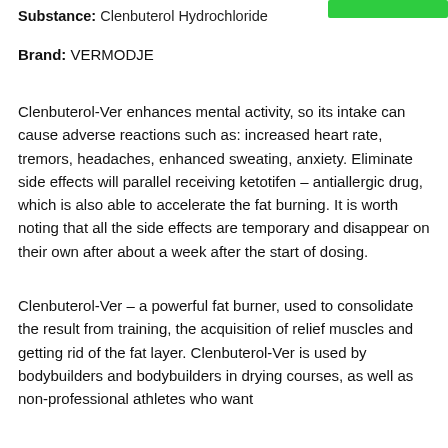Substance: Clenbuterol Hydrochloride
Brand: VERMODJE
Clenbuterol-Ver enhances mental activity, so its intake can cause adverse reactions such as: increased heart rate, tremors, headaches, enhanced sweating, anxiety. Eliminate side effects will parallel receiving ketotifen – antiallergic drug, which is also able to accelerate the fat burning. It is worth noting that all the side effects are temporary and disappear on their own after about a week after the start of dosing.
Clenbuterol-Ver – a powerful fat burner, used to consolidate the result from training, the acquisition of relief muscles and getting rid of the fat layer. Clenbuterol-Ver is used by bodybuilders and bodybuilders in drying courses, as well as non-professional athletes who want